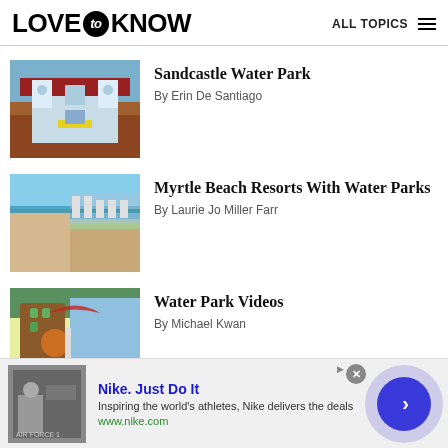LOVE to KNOW  ALL TOPICS
[Figure (photo): Sandcastle Water Park entrance with blue castle-style gate]
Sandcastle Water Park
By Erin De Santiago
[Figure (photo): Aerial view of Myrtle Beach coastline with hotels and ocean]
Myrtle Beach Resorts With Water Parks
By Laurie Jo Miller Farr
[Figure (photo): Water park rides with colorful slides and water features]
Water Park Videos
By Michael Kwan
[Figure (screenshot): Nike advertisement banner: Nike. Just Do It. Inspiring the world's athletes, Nike delivers the deals. www.nike.com]